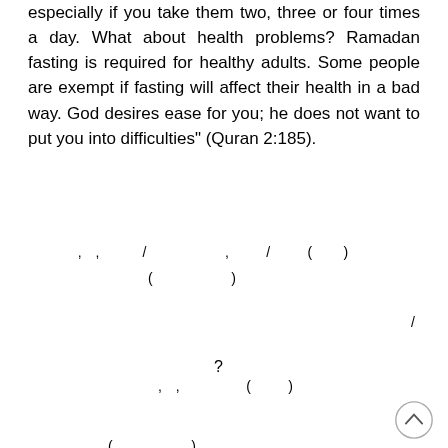especially if you take them two, three or four times a day. What about health problems? Ramadan fasting is required for healthy adults. Some people are exempt if fasting will affect their health in a bad way. God desires ease for you; he does not want to put you into difficulties" (Quran 2:185).
2 [Arabic text - question 2 content with punctuation marks visible]